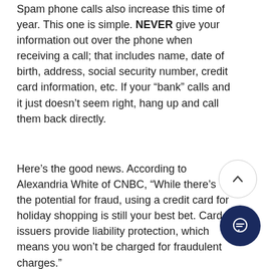Spam phone calls also increase this time of year. This one is simple. NEVER give your information out over the phone when receiving a call; that includes name, date of birth, address, social security number, credit card information, etc. If your “bank” calls and it just doesn’t seem right, hang up and call them back directly.
Here’s the good news. According to Alexandria White of CNBC, “While there’s the potential for fraud, using a credit card for holiday shopping is still your best bet. Card issuers provide liability protection, which means you won’t be charged for fraudulent charges.”